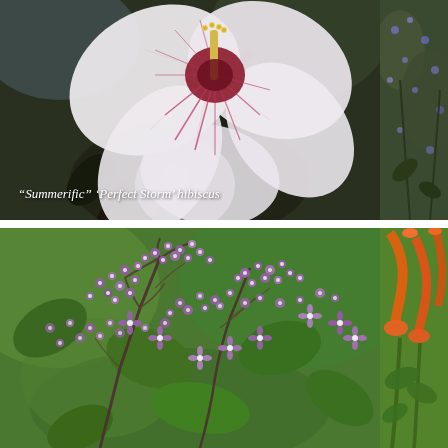[Figure (photo): Close-up photo of a large white hibiscus flower with deep pink-red center markings and dark stems/leaves. Caption reads: "Summerific" 'Perfect Storm' hibiscus]
“Summerific” ‘Perfect Storm’ hibiscus
[Figure (photo): Photo of lilac shrub with clusters of small purple and white star-shaped flowers against a green leafy background]
[Figure (photo): Partial view of a plant with purple/blue flowers on the right edge of the top row]
[Figure (photo): Partial view of bright orange tubular flowers on the right edge of the bottom row]